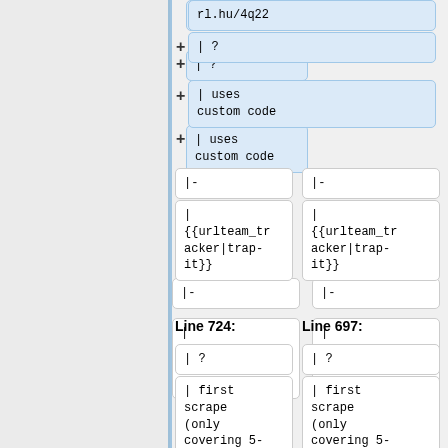rl.hu/4q22
| ?
| uses custom code
|-
|-
|
{{urlteam_tracker|trap-it}}
|
{{urlteam_tracker|trap-it}}
Line 724:
Line 697:
| ?
| ?
| first scrape (only covering 5-character codes) from
| first scrape (only covering 5-character codes) from